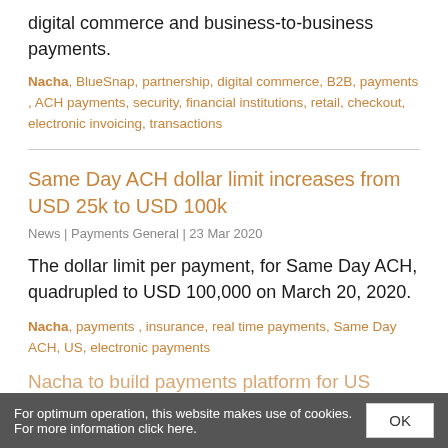digital commerce and business-to-business payments.
Nacha, BlueSnap, partnership, digital commerce, B2B, payments , ACH payments, security, financial institutions, retail, checkout, electronic invoicing, transactions
Same Day ACH dollar limit increases from USD 25k to USD 100k
News | Payments General | 23 Mar 2020
The dollar limit per payment, for Same Day ACH, quadrupled to USD 100,000 on March 20, 2020.
Nacha, payments , insurance, real time payments, Same Day ACH, US, electronic payments
Nacha to build payments platform for US financial
For optimum operation, this website makes use of cookies. For more information click here.